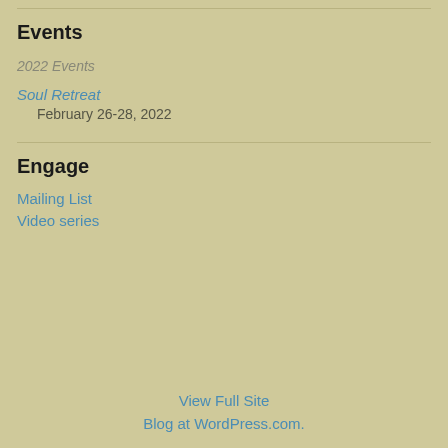Events
2022 Events
Soul Retreat
February 26-28, 2022
Engage
Mailing List
Video series
View Full Site
Blog at WordPress.com.